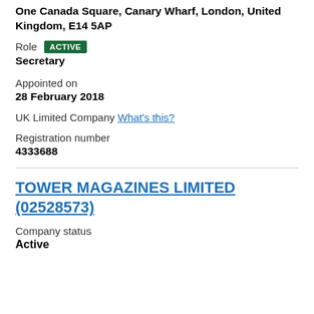One Canada Square, Canary Wharf, London, United Kingdom, E14 5AP
Role ACTIVE
Secretary
Appointed on
28 February 2018
UK Limited Company What's this?
Registration number
4333688
TOWER MAGAZINES LIMITED (02528573)
Company status
Active